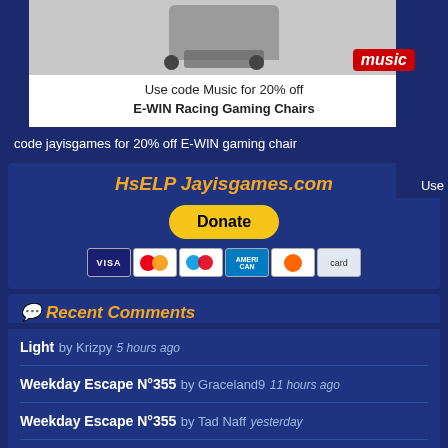[Figure (photo): Gaming chair product image with E-WIN Racing Gaming Chair advertisement. Shows a chair image and 'music' branding in red.]
Use code Music for 20% off E-WIN Racing Gaming Chairs
Use code jayisgames for 20% off E-WIN gaming chair
HsELP Jayisgames.com
[Figure (other): Donate button via PayPal with payment method icons: Visa, Mastercard, Maestro, American Express, Discover, and another card.]
Recent Comments
Light  by Krizpy  5 hours ago
Weekday Escape N°355  by Graceland9  11 hours ago
Weekday Escape N°355  by Tad Naff  yesterday
Weekday Escape N°355  by jF  yesterday